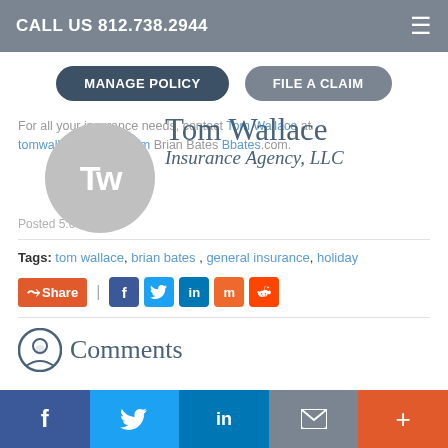CALL US 812.738.2944
MANAGE POLICY | FILE A CLAIM
[Figure (logo): Tom Wallace Insurance Agency LLC logo with TW monogram circle and serif text]
For all your insurance needs, contact Tom Wallace at tomwallace@gmail.com Brian Bates Bbates.com.
Posted 5:00 AM
Tags: tom wallace, brian bates, general insurance, holiday
+Share | Facebook Twitter LinkedIn Mix Reddit
Comments
Facebook Twitter LinkedIn Email +